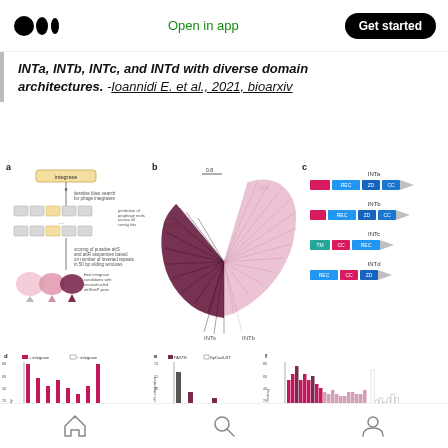Medium app header with logo, Open in app, Get started
INTa, INTb, INTc, and INTd with diverse domain architectures. -Ioannidi E. et al., 2021, bioarxiv
[Figure (flowchart): Panel a: Flowchart showing integrase search pipeline: integrase → iterative blast search for phage integrases → prediction of prophage ends across all contig hits → scoring of putative attS and attR sequences based on number of inverted repeats in 50 bp sliding windows → final integrase candidates with reconstructed attS/attP pairs]
[Figure (other): Panel b: Radial/fan phylogenetic tree showing INTa, INTb, INTc, INTd clades in dark purple and light pink]
[Figure (infographic): Panel c: Domain architecture diagrams for INTa, INTb, INTc, INTd showing colored domain blocks (REC, ZD, CC, TM, etc.)]
[Figure (bar-chart): Panel d: Bar chart showing % editing for +integrase (dark) and -integrase (light) across various attB lengths and attBs clone conditions]
[Figure (bar-chart): Panel e: Bar chart showing % integration for PASTE and SpCas9-RT across different conditions]
[Figure (bar-chart): Panel f: Bar chart showing % sorting across attB lengths and attBs clone conditions]
Bottom navigation bar with home, search, and profile icons